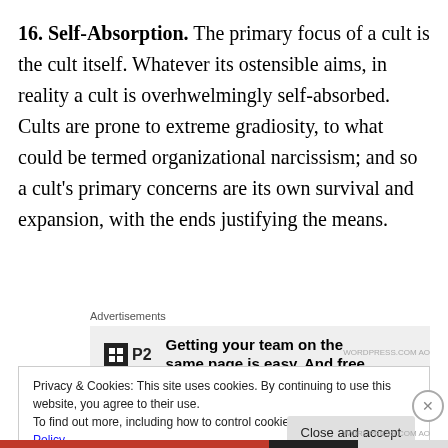16. Self-Absorption. The primary focus of a cult is the cult itself. Whatever its ostensible aims, in reality a cult is overhwelmingly self-absorbed. Cults are prone to extreme gradiosity, to what could be termed organizational narcissism; and so a cult's primary concerns are its own survival and expansion, with the ends justifying the means.
Advertisements
[Figure (other): Advertisement for P2 app with logo and text: Getting your team on the same page is easy. And free.]
Privacy & Cookies: This site uses cookies. By continuing to use this website, you agree to their use.
To find out more, including how to control cookies, see here: Cookie Policy